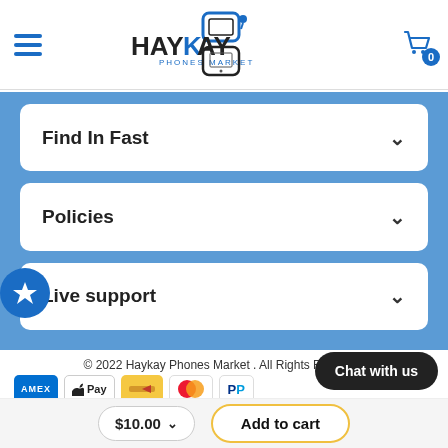[Figure (logo): Haykay Phones Market logo with phone icon, brand name in black and blue]
Find In Fast
Policies
Live support
© 2022 Haykay Phones Market . All Rights Reserved
[Figure (infographic): Payment method icons: Amex, Apple Pay, generic card, Mastercard, PayPal]
Chat with us
$10.00
Add to cart